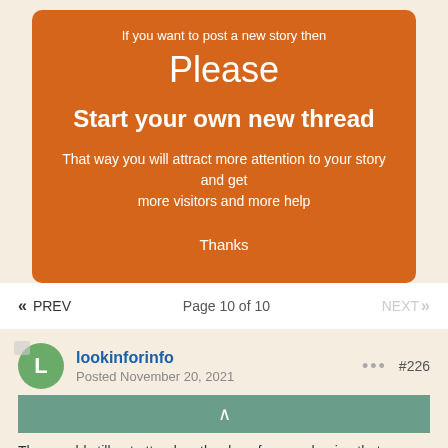If you want to post a new story then
Please
Start your own new thread
That way you will attract more attention to your story and get more visitors and more help
Thanks
<< PREV   Page 10 of 10   NEXT >>
lookinforinfo
Posted November 20, 2021
#226
They could still not attend on the day of course hoping that you might not